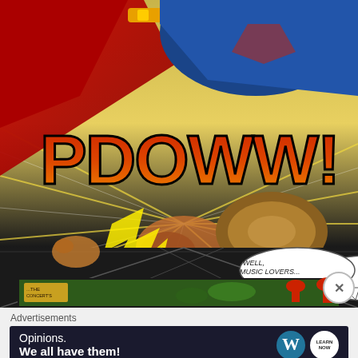[Figure (illustration): Comic book panel showing a superhero in blue costume with red cape delivering a powerful punch. Large stylized sound effect text 'PDOWW!' in red-orange gradient letters dominates the center. A speech bubble reads 'WELL, MUSIC LOVERS... LOOKS LIKE...' A second smaller panel at the bottom shows characters in green setting with a sign reading '...THE CONCERT'S'. A close/dismiss button (X in circle) appears at the bottom right of the comic.]
Advertisements
[Figure (screenshot): Advertisement banner with dark navy background. Text reads 'Opinions. We all have them!' on the left side in white. On the right side are two circular logos: a WordPress logo (W in dark circle) and a smaller white circle with text 'LEARN NOW' or similar.]